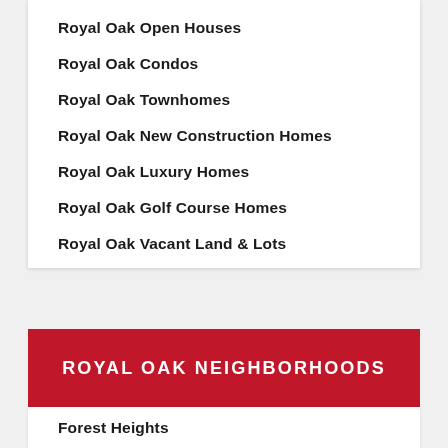Royal Oak Open Houses
Royal Oak Condos
Royal Oak Townhomes
Royal Oak New Construction Homes
Royal Oak Luxury Homes
Royal Oak Golf Course Homes
Royal Oak Vacant Land & Lots
ROYAL OAK NEIGHBORHOODS
Forest Heights